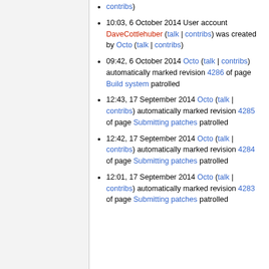contribs)
10:03, 6 October 2014 User account DaveCottlehuber (talk | contribs) was created by Octo (talk | contribs)
09:42, 6 October 2014 Octo (talk | contribs) automatically marked revision 4286 of page Build system patrolled
12:43, 17 September 2014 Octo (talk | contribs) automatically marked revision 4285 of page Submitting patches patrolled
12:42, 17 September 2014 Octo (talk | contribs) automatically marked revision 4284 of page Submitting patches patrolled
12:01, 17 September 2014 Octo (talk | contribs) automatically marked revision 4283 of page Submitting patches patrolled